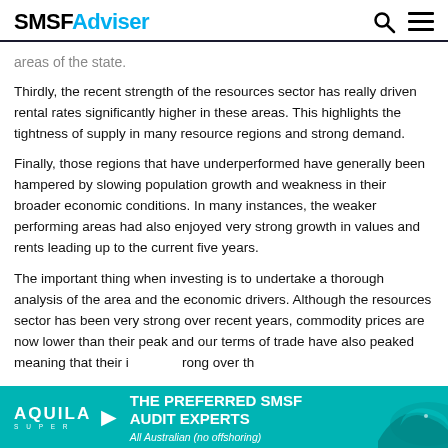SMSFAdviser
areas of the state.
Thirdly, the recent strength of the resources sector has really driven rental rates significantly higher in these areas. This highlights the tightness of supply in many resource regions and strong demand.
Finally, those regions that have underperformed have generally been hampered by slowing population growth and weakness in their broader economic conditions. In many instances, the weaker performing areas had also enjoyed very strong growth in values and rents leading up to the current five years.
The important thing when investing is to undertake a thorough analysis of the area and the economic drivers. Although the resources sector has been very strong over recent years, commodity prices are now lower than their peak and our terms of trade have also peaked meaning that their i... rong over th...
[Figure (other): Aquila Super advertisement banner: THE PREFERRED SMSF AUDIT EXPERTS, All Australian (no offshoring)]